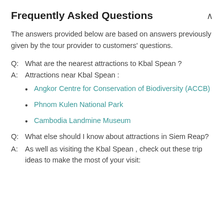Frequently Asked Questions
The answers provided below are based on answers previously given by the tour provider to customers' questions.
Q:  What are the nearest attractions to Kbal Spean ?
A:  Attractions near Kbal Spean :
Angkor Centre for Conservation of Biodiversity (ACCB)
Phnom Kulen National Park
Cambodia Landmine Museum
Q:  What else should I know about attractions in Siem Reap?
A:  As well as visiting the Kbal Spean , check out these trip ideas to make the most of your visit: